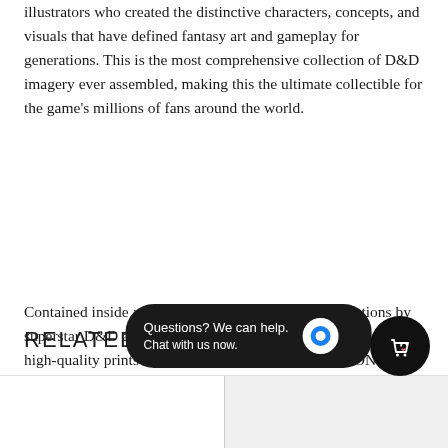illustrators who created the distinctive characters, concepts, and visuals that have defined fantasy art and gameplay for generations. This is the most comprehensive collection of D&D imagery ever assembled, making this the ultimate collectible for the game's millions of fans around the world.
Contained inside a clamshell featuring original illustrations by superstar D&D artist Hydro74, this special edition includes 10 high-quality prints of classic DUNGEONS & DRAGONS artwork, as well as a pamphlet-sized, unpublished original version of the game's most infamous adventure module and deathtrap Tomb of Horrors, written by DUNGEONS & DRAGONS co-creator Gary Gygax.
RELATED PRODUCTS
[Figure (screenshot): Chat widget overlay with text 'Questions? We can help. Chat with us now.' and a blue chat bubble icon on dark background]
[Figure (other): Black circular shopping bag button with heart icon in bottom right corner]